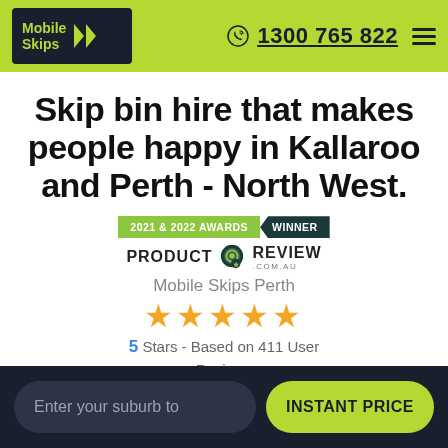Mobile Skips | 1300 765 822
Skip bin hire that makes people happy in Kallaroo and Perth - North West.
[Figure (logo): Product Review .com.au 2021 & 2022 Awards Winner badge with Mobile Skips Perth 5 star rating based on 411 user reviews]
Mobile Skips Perth
5 Stars - Based on 411 User Reviews
Enter your suburb to | INSTANT PRICE